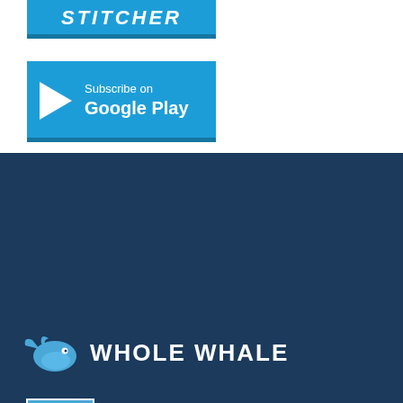[Figure (logo): STITCHER button/logo in blue with white bold italic text]
[Figure (logo): Subscribe on Google Play button in blue with play triangle icon and white text]
[Figure (logo): Whole Whale logo with blue whale icon and white bold text WHOLE WHALE on dark navy background]
[Figure (illustration): New York City badge/shield icon with lighthouse illustration]
1288 Coney Island Ave.
#300459 Brooklyn, NY
11230
GET IN TOUCH
GET NUTRITIOUS EMAILS